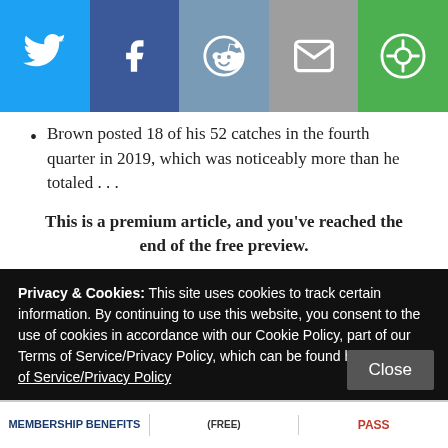[Figure (infographic): Social media share buttons bar: Twitter (blue), Facebook (dark blue), Reddit (grey-blue), Email (grey), and a green share/rotate icon button]
Brown posted 18 of his 52 catches in the fourth quarter in 2019, which was noticeably more than he totaled . . .
This is a premium article, and you've reached the end of the free preview.
The rest of this content is restricted to Broadway Insiders. Register for an Broadway Insider Pass to view this post in its entirety.
If you're not ready to unlock everything Broadway
Privacy & Cookies: This site uses cookies to track certain information. By continuing to use this website, you consent to the use of cookies in accordance with our Cookie Policy, part of our Terms of Service/Privacy Policy, which can be found here: Terms of Service/Privacy Policy
Close
MEMBERSHIP BENEFITS | (FREE) | PASS